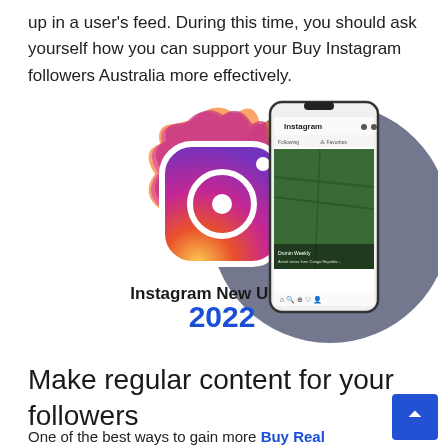up in a user's feed. During this time, you should ask yourself how you can support your Buy Instagram followers Australia more effectively.
[Figure (illustration): Composite image showing Instagram logo with colorful paint splash on the left, text 'Instagram New Update 2022' below it, and a smartphone showing the Instagram app interface on a dark purple/grey background on the right.]
Make regular content for your followers
One of the best ways to gain more Buy Real Organic followers on Instagram is to make